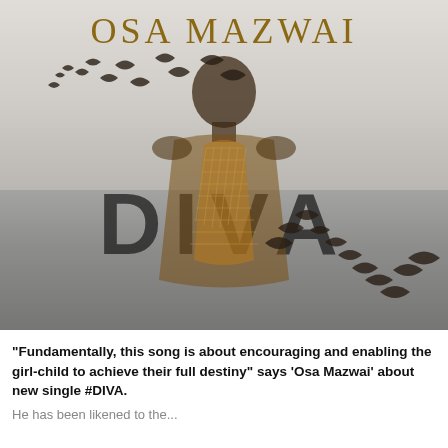[Figure (illustration): Album cover artwork for 'DIVA' by Osa Mazwai. Features a young man's portrait with birds flying around him, overlaid on a muted grey landscape background. Large letters 'DIVA' appear across the middle. Artist name 'OSA MAZWAI' appears in brown serif lettering at the top.]
"Fundamentally, this song is about encouraging and enabling the girl-child to achieve their full destiny" says 'Osa Mazwai' about new single #DIVA.
He has been likened to the...